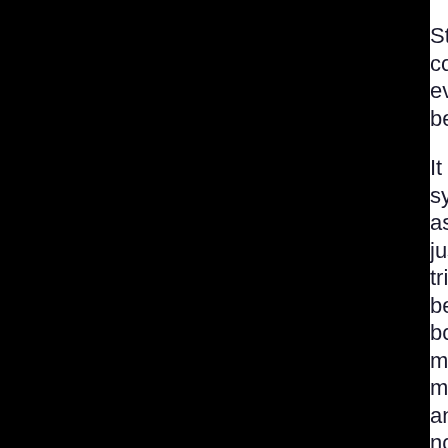States, of the two coasts and everywhere in between.
It should be between system and system, as in US v Italian justice as we have tried to prove; and between top-down v bottom-up, with millions at the bottom much more skilled and empowered (and not duped into thinking billionaires